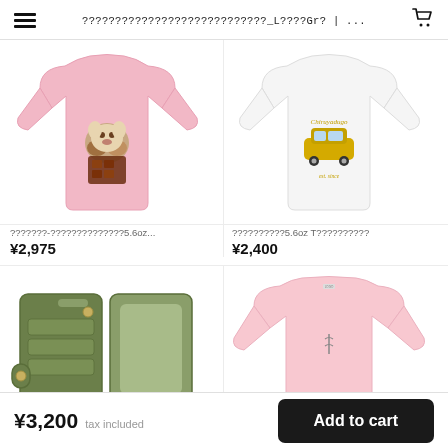☰  ????????????????????????????_L????Gr? | ...  🛒
[Figure (photo): Pink t-shirt with puppy/dog graphic on chest, laid flat]
[Figure (photo): White t-shirt with yellow taxi car graphic and script text on chest, laid flat]
???????-??????????????5.6oz...
¥2,975
??????????5.6oz T??????????
¥2,400
[Figure (photo): Olive green folio-style phone case open showing card slots and interior, viewed from back]
[Figure (photo): Light pink oversized t-shirt with small embroidered logo on chest, laid flat]
¥3,200  tax included
Add to cart